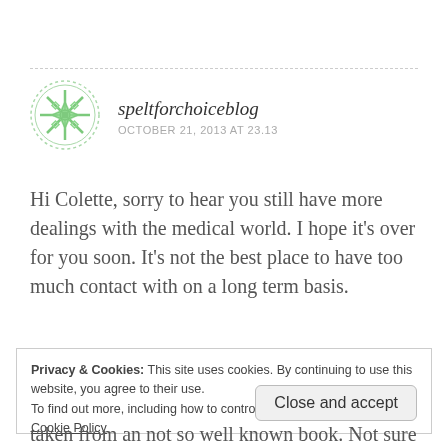[Figure (illustration): Green circular snowflake/geometric avatar icon for user speltforchoiceblog]
speltforchoiceblog
OCTOBER 21, 2013 AT 23.13
Hi Colette, sorry to hear you still have more dealings with the medical world. I hope it's over for you soon. It's not the best place to have too much contact with on a long term basis.
Privacy & Cookies: This site uses cookies. By continuing to use this website, you agree to their use.
To find out more, including how to control cookies, see here:
Cookie Policy
Close and accept
taken from an not so well known book. Not sure